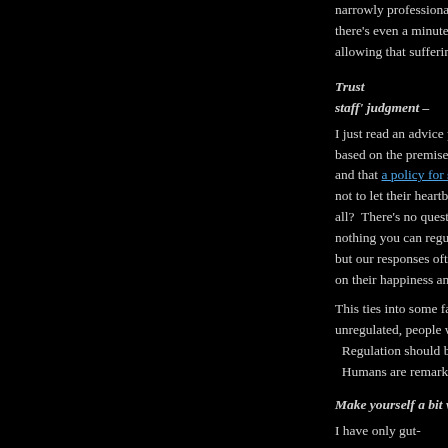narrowly professional p there's even a minute p allowing that suffering to
Trust staff' judgment –
I just read an advice pie based on the premise th and that a policy for suc not to let their heartbrea all? There's no questio nothing you can regulat but our responses often on their happiness and a
This ties into some fairly unregulated, people wil Regulation should be Humans are remarkabl
Make yourself a bit vu
I have only gut-instinct this, but feel strongly th